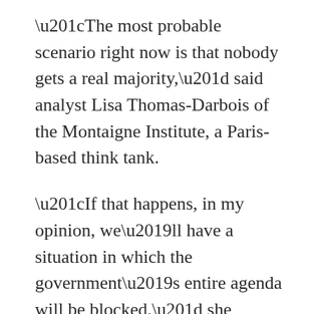“The most probable scenario right now is that nobody gets a real majority,” said analyst Lisa Thomas-Darbois of the Montaigne Institute, a Paris-based think tank.
“If that happens, in my opinion, we’ll have a situation in which the government’s entire agenda will be blocked,” she added.
A political coup and discontent
Powering the NUPES is septuagenarian firebrand Jean-Luc Melenchon and his